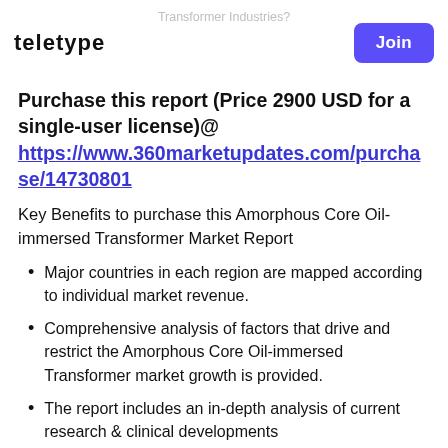TELETYPE
Purchase this report (Price 2900 USD for a single-user license)@ https://www.360marketupdates.com/purchase/14730801
Key Benefits to purchase this Amorphous Core Oil-immersed Transformer Market Report
Major countries in each region are mapped according to individual market revenue.
Comprehensive analysis of factors that drive and restrict the Amorphous Core Oil-immersed Transformer market growth is provided.
The report includes an in-depth analysis of current research & clinical developments